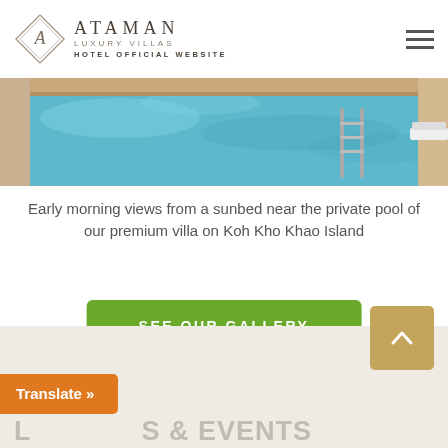ATAMAN LUXURY VILLAS — HOTEL OFFICIAL WEBSITE
[Figure (photo): Top-down view of a private pool with turquoise water, pool ladder visible, sunbeds at edge]
Early morning views from a sunbed near the private pool of our premium villa on Koh Kho Khao Island
SEE OUR GALLERY
[Figure (other): Scroll to top button with upward chevron on gold/tan background]
Translate »
... S & EVENTS